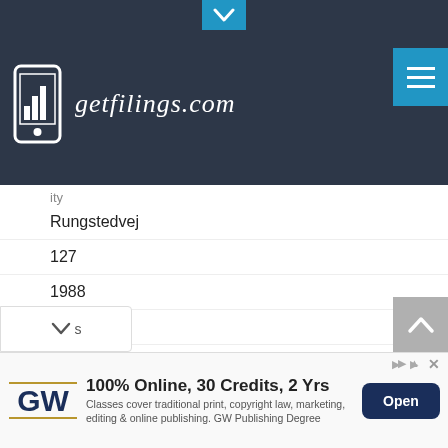getfilings.com
Rungstedvej
127
1988
2960
Rungsted
Denmark
Henrik Rouf   504,722   8.9%
(4)
[Figure (screenshot): Advertisement for GW Publishing Degree: 100% Online, 30 Credits, 2 Yrs. Classes cover traditional print, copyright law, marketing, editing & online publishing. GW Publishing Degree. Open button.]